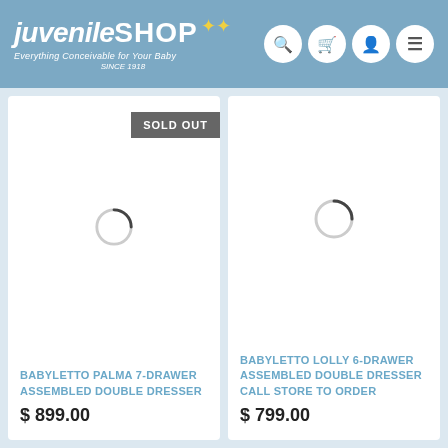[Figure (logo): JuvenileSHOP logo with tagline 'Everything Conceivable for Your Baby' and 'SINCE 1918', navigation icons for search, cart, account, and menu]
[Figure (screenshot): Product card for BABYLETTO PALMA 7-DRAWER ASSEMBLED DOUBLE DRESSER with SOLD OUT banner and loading spinner, price $899.00]
[Figure (screenshot): Product card for BABYLETTO LOLLY 6-DRAWER ASSEMBLED DOUBLE DRESSER CALL STORE TO ORDER with loading spinner, price $799.00]